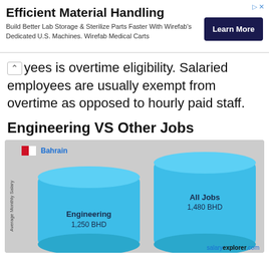[Figure (other): Advertisement banner: Efficient Material Handling — Build Better Lab Storage & Sterilize Parts Faster With Wirefab's Dedicated U.S. Machines. Wirefab Medical Carts. Learn More button.]
...yees is overtime eligibility. Salaried employees are usually exempt from overtime as opposed to hourly paid staff.
Engineering VS Other Jobs
[Figure (bar-chart): Engineering VS Other Jobs]